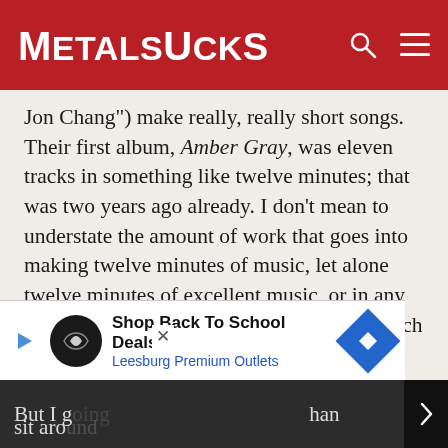METALSUCKS
Jon Chang") make really, really short songs. Their first album, Amber Gray, was eleven tracks in something like twelve minutes; that was two years ago already. I don't mean to understate the amount of work that goes into making twelve minutes of music, let alone twelve minutes of excellent music, or in any way suggest that these are Triple A riffs which can be hammered out in a few hours – but come on. If your band makes twelve-minute long albums, you should be release, like, at least three albums a year. At least.
But I g... than sit aro...